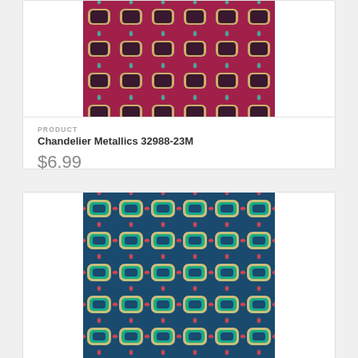[Figure (photo): Red/magenta and tan geometric octagon chain-link fabric pattern - Chandelier Metallics 32988-23M]
PRODUCT
Chandelier Metallics 32988-23M
$6.99
[Figure (photo): Navy blue and teal geometric octagon chain-link fabric pattern]